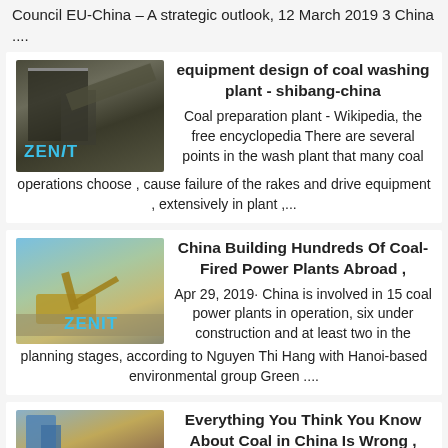Council EU-China – A strategic outlook, 12 March 2019 3 China ....
[Figure (photo): Industrial coal washing plant equipment with ZENIT branding]
equipment design of coal washing plant - shibang-china
Coal preparation plant - Wikipedia, the free encyclopedia There are several points in the wash plant that many coal operations choose , cause failure of the rakes and drive equipment , extensively in plant ,...
[Figure (photo): Construction site with excavators and machinery, ZENIT branding]
China Building Hundreds Of Coal-Fired Power Plants Abroad ,
Apr 29, 2019· China is involved in 15 coal power plants in operation, six under construction and at least two in the planning stages, according to Nguyen Thi Hang with Hanoi-based environmental group Green ....
[Figure (photo): Industrial facility with blue structures and yellow equipment]
Everything You Think You Know About Coal in China Is Wrong ,
May 15, 2017· The US and China...